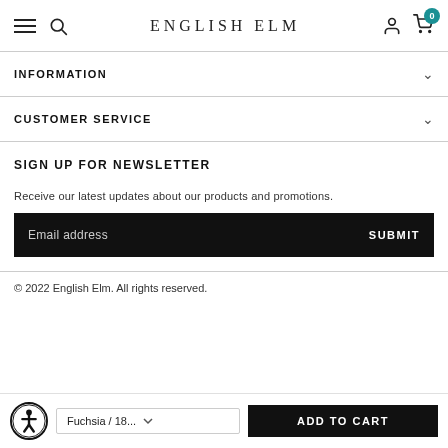ENGLISH ELM
INFORMATION
CUSTOMER SERVICE
SIGN UP FOR NEWSLETTER
Receive our latest updates about our products and promotions.
Email address   SUBMIT
© 2022 English Elm. All rights reserved.
Fuchsia / 18...   ADD TO CART